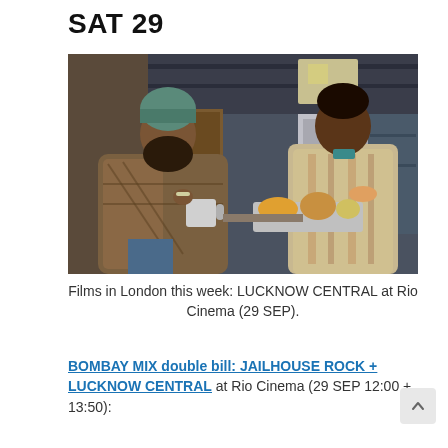SAT 29
[Figure (photo): Two men in an industrial setting. The man on the left wears a teal head wrap and a plaid shawl, holding a metal mug. The man on the right wears a vest and holds a tray of food. A refrigerator and shelving are visible in the background.]
Films in London this week: LUCKNOW CENTRAL at Rio Cinema (29 SEP).
BOMBAY MIX double bill: JAILHOUSE ROCK + LUCKNOW CENTRAL at Rio Cinema (29 SEP 12:00 + 13:50):